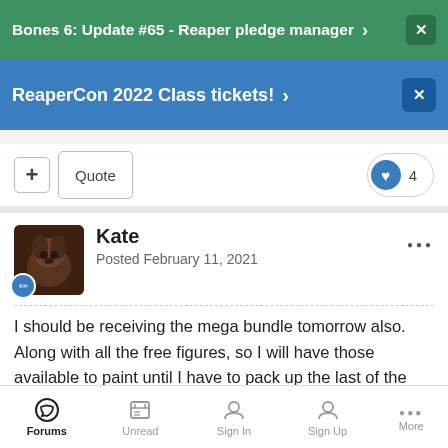Bones 6: Update #65 - Reaper pledge manager
ReaperCon 2022 Class tickets!
Quote
4
Kate
Posted February 11, 2021
I should be receiving the mega bundle tomorrow also. Along with all the free figures, so I will have those available to paint until I have to pack up the last of the hobby stuff - probably the day I move 😎.  I am getting paint on my current figures in the few minutes I have each day. I looked them up and am working on
Forums  Unread  Sign In  Sign Up  More